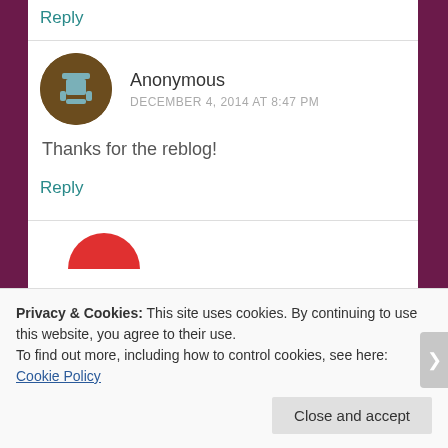Reply
Anonymous
DECEMBER 4, 2014 AT 8:47 PM
Thanks for the reblog!
Reply
Privacy & Cookies: This site uses cookies. By continuing to use this website, you agree to their use.
To find out more, including how to control cookies, see here: Cookie Policy
Close and accept